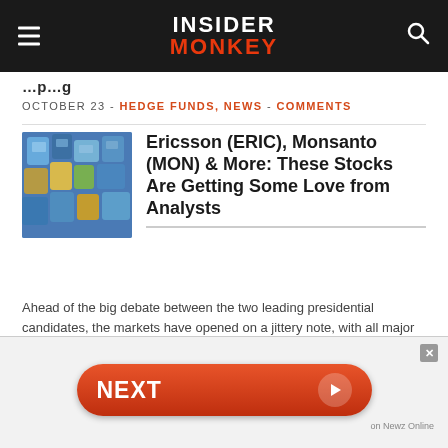INSIDER MONKEY
October 23 - Hedge Funds, News - Comments
Ericsson (ERIC), Monsanto (MON) & More: These Stocks Are Getting Some Love from Analysts
Ahead of the big debate between the two leading presidential candidates, the markets have opened on a jittery note, with all major indices trading in the red.
Keep Reading →
[Figure (other): NEXT button advertisement overlay with close button and 'on Newz Online' attribution]